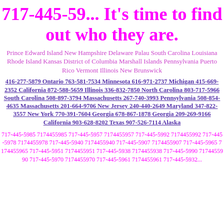717-445-59... It's time to find out who they are.
Prince Edward Island New Hampshire Delaware Palau South Carolina Louisiana Rhode Island Kansas District of Columbia Marshall Islands Pennsylvania Puerto Rico Vermont Illinois New Brunswick
416-277-5879 Ontario 763-581-7534 Minnesota 616-971-2737 Michigan 415-669-2352 California 872-588-5659 Illinois 336-832-7850 North Carolina 803-717-5966 South Carolina 508-897-3794 Massachusetts 267-740-3993 Pennsylvania 508-854-4635 Massachusetts 201-664-9706 New Jersey 240-440-2649 Maryland 347-822-3557 New York 770-391-7604 Georgia 678-867-1878 Georgia 209-269-9166 California 903-628-8202 Texas 907-526-7114 Alaska
717-445-5985 7174455985 717-445-5957 7174455957 717-445-5992 7174455992 717-445-5978 7174455978 717-445-5940 7174455940 717-445-5907 7174455907 717-445-5965 7174455965 717-445-5951 7174455951 717-445-5938 7174455938 717-445-5990 7174455990 717-445-5970 7174455970 717-445-5961 7174455961 717-445-5932...